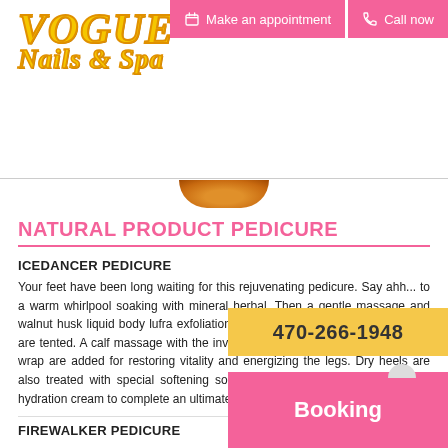Make an appointment | Call now
[Figure (logo): VOGUE Nails & Spa logo in yellow italic serif font with orange stroke]
[Figure (photo): Partial view of a spa bowl/basin in orange/brown tones peeking from top]
NATURAL PRODUCT PEDICURE
ICEDANCER PEDICURE
Your feet have been long waiting for this rejuvenating pedicure. Say ahh... to a warm whirlpool soaking with mineral herbal. Then a gentle massage and walnut husk liquid body lufra exfoliation. While regular pedicure components are tented. A calf massage with the invigorating Icedancer and steamy towel wrap are added for restoring vitality and energizing the legs. Dry heels are also treated with special softening solution. Finish with a soft yet intense hydration cream to complete an ultimate experience.
FIREWALKER PEDICURE
470-266-1948
Booking